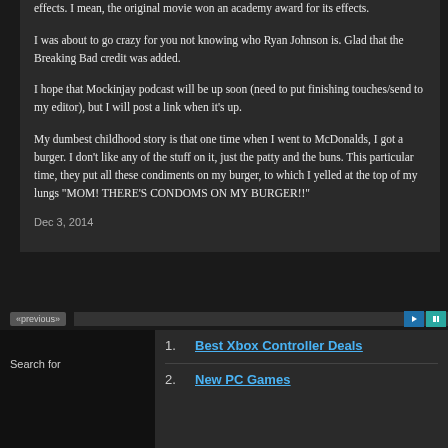effects. I mean, the original movie won an academy award for its effects.
I was about to go crazy for you not knowing who Ryan Johnson is. Glad that the Breaking Bad credit was added.
I hope that Mockinjay podcast will be up soon (need to put finishing touches/send to my editor), but I will post a link when it’s up.
My dumbest childhood story is that one time when I went to McDonalds, I got a burger. I don’t like any of the stuff on it, just the patty and the buns. This particular time, they put all these condiments on my burger, to which I yelled at the top of my lungs “MOM! THERE’S CONDOMS ON MY BURGER!!”
Dec 3, 2014
Search for
1. Best Xbox Controller Deals
2. New PC Games